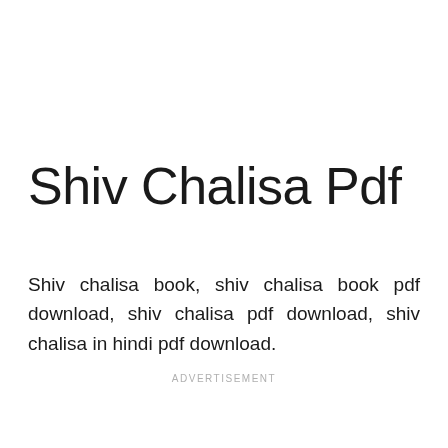Shiv Chalisa Pdf
Shiv chalisa book, shiv chalisa book pdf download, shiv chalisa pdf download, shiv chalisa in hindi pdf download.
ADVERTISEMENT